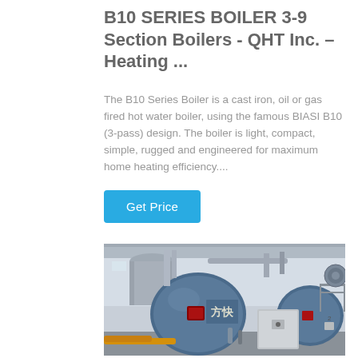B10 SERIES BOILER 3-9 Section Boilers - QHT Inc. – Heating ...
The B10 Series Boiler is a cast iron, oil or gas fired hot water boiler, using the famous BIASI B10 (3-pass) design. The boiler is light, compact, simple, rugged and engineered for maximum home heating efficiency....
Get Price
[Figure (photo): Industrial boiler facility showing large blue cylindrical boilers with pipes, ducts, and a gray control panel box in a warehouse/factory setting.]